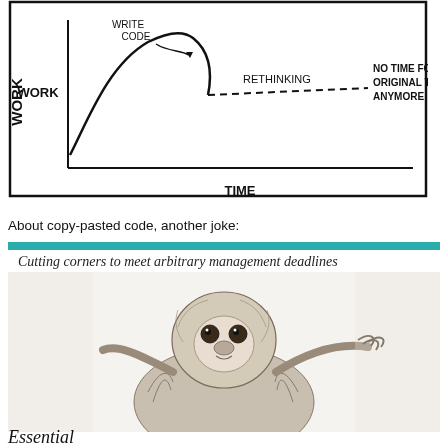[Figure (illustration): XKCD-style hand-drawn comic graph showing 'WORK' on y-axis and 'TIME' on x-axis. Two curves: one labeled 'WRITE CODE' that rises then falls, and one labeled 'RETHINKING' shown as a dashed line. Text 'NO TIME FOR ORIGINAL TASK ANYMORE' at right.]
About copy-pasted code, another joke:
[Figure (illustration): Book cover style image with teal header bar, italic text 'Cutting corners to meet arbitrary management deadlines', a detailed pencil drawing of a sloth, and partial text 'Essential' at the bottom.]